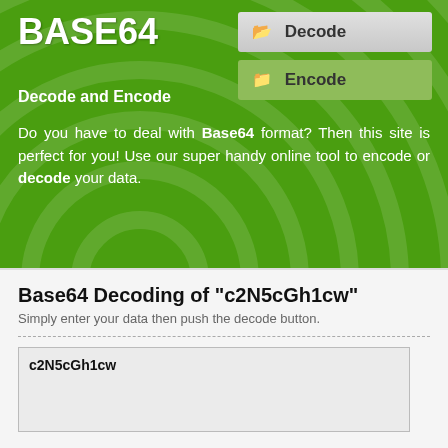BASE64
Decode and Encode
[Figure (screenshot): Decode navigation button with folder icon]
[Figure (screenshot): Encode navigation button with folder icon]
Do you have to deal with Base64 format? Then this site is perfect for you! Use our super handy online tool to encode or decode your data.
Base64 Decoding of "c2N5cGh1cw"
Simply enter your data then push the decode button.
c2N5cGh1cw